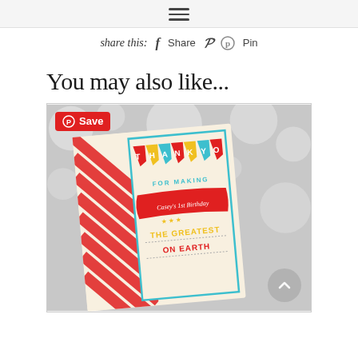≡ (hamburger menu icon)
share this:  f  Share  p  Pin
You may also like...
[Figure (photo): A carnival/circus themed thank you card showing colorful bunting flags spelling THANK YOU, with text reading FOR MAKING Casey's 1st Birthday THE GREATEST ON EARTH, decorated with red and white stripes and teal border. A red Save button appears in the top-left corner and a gray back-to-top button in the bottom-right.]